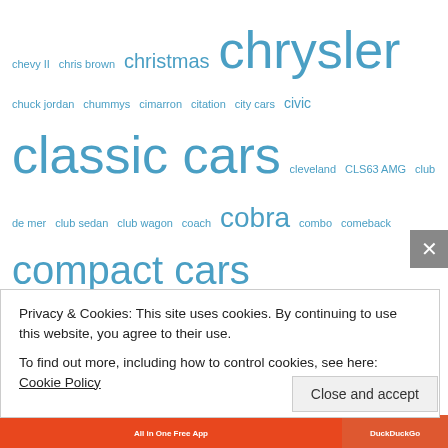[Figure (infographic): A tag cloud of car-related terms in varying font sizes and blue color. Terms include: chevy II, chris brown, christmas, chrysler, chuck jordan, chummys, cimarron, citation, city cars, civic, classic cars, cleveland, CLS63 AMG, club de mer, club sedan, club wagon, coach, cobra, combo, comeback, compact cars, concept cars, continental, convertible, corolla, coronet, corvair, corvette, cougar 406, countach, country club, coupe, craigslist, crazy paint, creativity, cressida, crestline victoria, crown victoria, cruze, curtiss-wright, custom cars, custom royal, custom vans, cutlass, cutlass supreme, CVCC, cyclone, dart, datsun, daytona, delorean, design, deSoto, details, detroit, diablo, dino, discontinued cars, DMC 12, documentary, dodge, dodge fever]
Privacy & Cookies: This site uses cookies. By continuing to use this website, you agree to their use.
To find out more, including how to control cookies, see here: Cookie Policy
Close and accept